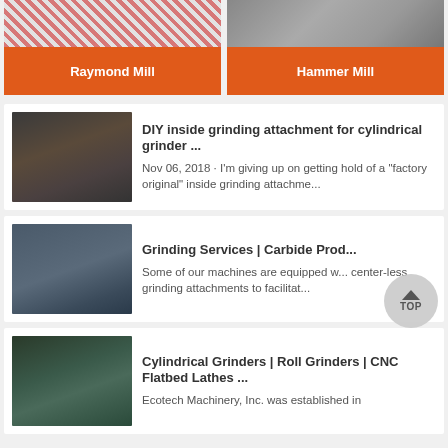[Figure (photo): Product card: Raymond Mill — industrial mill machine photo with orange label]
[Figure (photo): Product card: Hammer Mill — industrial mill machine photo with orange label]
[Figure (photo): Thumbnail of cylindrical grinder machine in industrial setting]
DIY inside grinding attachment for cylindrical grinder ...
Nov 06, 2018 · I'm giving up on getting hold of a "factory original" inside grinding attachme...
[Figure (photo): Thumbnail of large grinding machine in factory]
Grinding Services | Carbide Prod...
Some of our machines are equipped w... center-less grinding attachments to facilitat...
[Figure (photo): Thumbnail of cylindrical grinder / roll grinder machine]
Cylindrical Grinders | Roll Grinders | CNC Flatbed Lathes ...
Ecotech Machinery, Inc. was established in